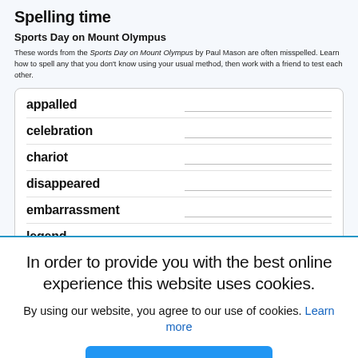Spelling time
Sports Day on Mount Olympus
These words from the Sports Day on Mount Olympus by Paul Mason are often misspelled. Learn how to spell any that you don’t know using your usual method, then work with a friend to test each other.
appalled
celebration
chariot
disappeared
embarrassment
legend
neighbour
In order to provide you with the best online experience this website uses cookies.
By using our website, you agree to our use of cookies. Learn more
I agree
wheezing
wonderful